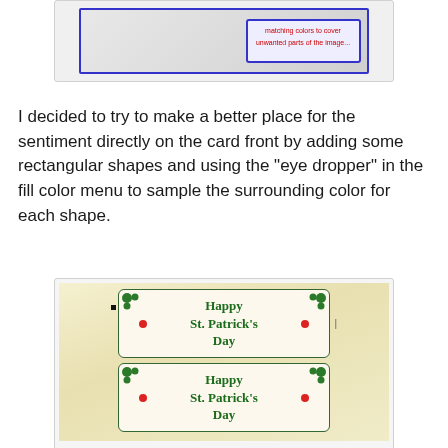[Figure (screenshot): Screenshot showing a card editing interface with red text reading 'matching colors to cover unwanted parts of the image...' inside a blue-bordered box]
I decided to try to make a better place for the sentiment directly on the card front by adding some rectangular shapes and using the "eye dropper" in the fill color menu to sample the surrounding color for each shape.
[Figure (photo): Photo of a St. Patrick's Day card design showing two card panels with 'Happy St. Patrick's Day' text in green, decorated with shamrocks and red flower accents on a yellow/cream background]